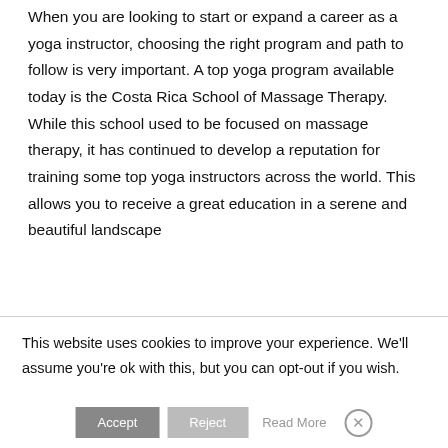When you are looking to start or expand a career as a yoga instructor, choosing the right program and path to follow is very important. A top yoga program available today is the Costa Rica School of Massage Therapy. While this school used to be focused on massage therapy, it has continued to develop a reputation for training some top yoga instructors across the world. This allows you to receive a great education in a serene and beautiful landscape
This website uses cookies to improve your experience. We'll assume you're ok with this, but you can opt-out if you wish.